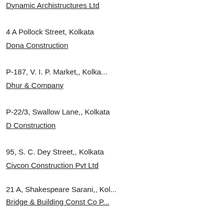Dynamic Archistructures Ltd
4 A Pollock Street, Kolkata
Dona Construction
P-187, V. I. P. Market,, Kolka...
Dhur & Company
P-22/3, Swallow Lane,, Kolkata
D Construction
95, S. C. Dey Street,, Kolkata
Civcon Construction Pvt Ltd
21 A, Shakespeare Sarani,, Kol...
Bridge & Building Const Co P...
90- B, S. P. Mukherjee Road, F...
Bidhan Bhattacharjee